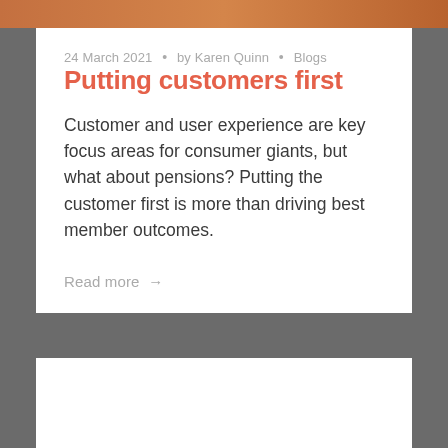24 March 2021 • by Karen Quinn • Blogs
Putting customers first
Customer and user experience are key focus areas for consumer giants, but what about pensions? Putting the customer first is more than driving best member outcomes.
Read more →